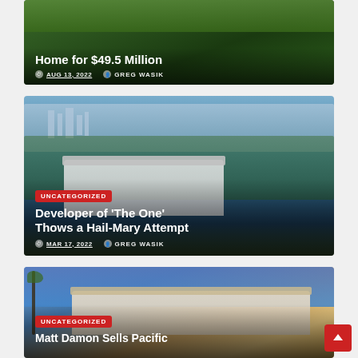[Figure (photo): Aerial view of a property with green lawn, partially cropped at top. Article card with title and metadata overlay.]
Home for $49.5 Million
AUG 13, 2022   GREG WASIK
[Figure (photo): Aerial cityscape photo of Beverly Hills or similar LA neighborhood with a modern mansion in foreground.]
UNCATEGORIZED
Developer of 'The One' Thows a Hail-Mary Attempt
MAR 17, 2022   GREG WASIK
[Figure (photo): Modern luxury home exterior at dusk/evening with palm trees, blue sky.]
UNCATEGORIZED
Matt Damon Sells Pacific Pali...